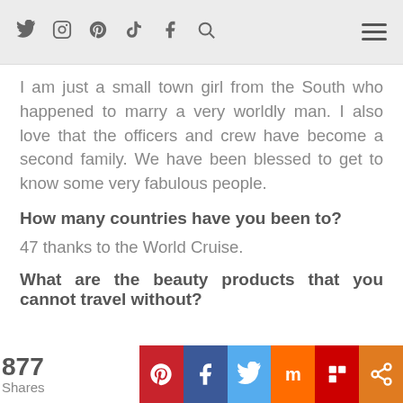Social media icons (Twitter, Instagram, Pinterest, TikTok, Facebook, Search) and hamburger menu
I am just a small town girl from the South who happened to marry a very worldly man. I also love that the officers and crew have become a second family. We have been blessed to get to know some very fabulous people.
How many countries have you been to?
47 thanks to the World Cruise.
What are the beauty products that you cannot travel without?
877 Shares — Pinterest, Facebook, Twitter, Mix, Flipboard, Share buttons